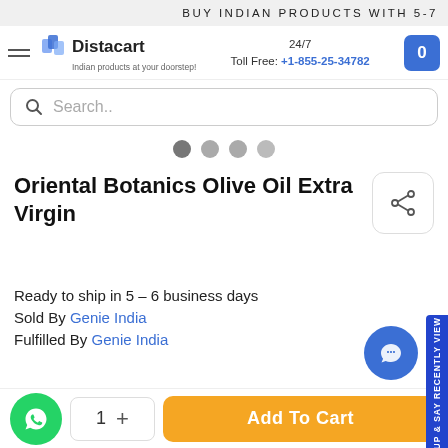BUY INDIAN PRODUCTS WITH 5-7
[Figure (logo): Distacart logo with tagline 'Indian products at your doorstep!']
24/7 Toll Free: +1-855-25-34782
Search..
Oriental Botanics Olive Oil Extra Virgin
Ready to ship in 5 – 6 business days
Sold By Genie India
Fulfilled By Genie India
sign up & say RECENTLY VIEW
1   +   Add To Cart